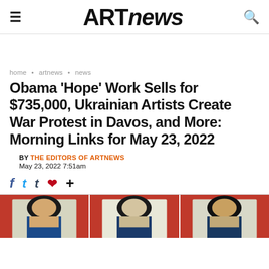ARTnews
home • artnews • news
Obama 'Hope' Work Sells for $735,000, Ukrainian Artists Create War Protest in Davos, and More: Morning Links for May 23, 2022
BY THE EDITORS OF ARTNEWS
May 23, 2022 7:51am
[Figure (photo): Three panels showing the Obama 'Hope' poster artwork by Shepard Fairey, with red, blue, and beige color scheme, repeated side by side.]